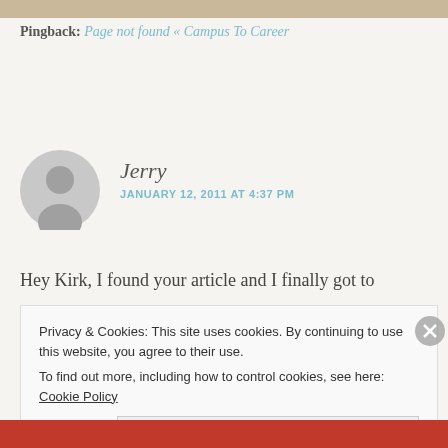[Figure (other): Decorative top bar in beige/tan color]
Pingback: Page not found « Campus To Career
[Figure (illustration): Gray avatar/profile placeholder circle with person silhouette]
Jerry
JANUARY 12, 2011 AT 4:37 PM
Hey Kirk, I found your article and I finally got to
Privacy & Cookies: This site uses cookies. By continuing to use this website, you agree to their use.
To find out more, including how to control cookies, see here: Cookie Policy
Close and accept